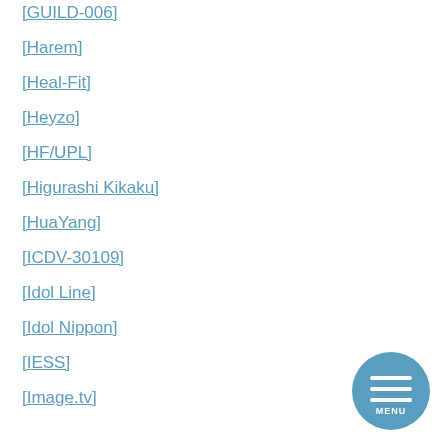[GUILD-006]
[Harem]
[Heal-Fit]
[Heyzo]
[HF/UPL]
[Higurashi Kikaku]
[HuaYang]
[ICDV-30109]
[Idol Line]
[Idol Nippon]
[IESS]
[Image.tv]
[Figure (illustration): Round blue menu button with three horizontal white lines and MENU text]